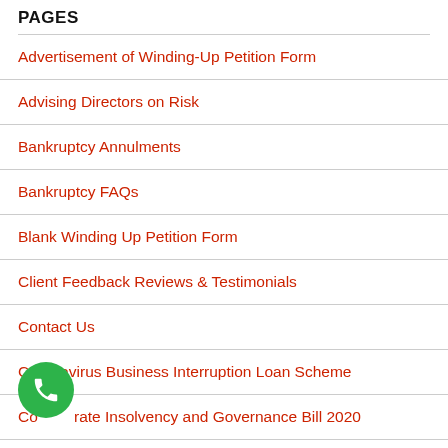PAGES
Advertisement of Winding-Up Petition Form
Advising Directors on Risk
Bankruptcy Annulments
Bankruptcy FAQs
Blank Winding Up Petition Form
Client Feedback Reviews & Testimonials
Contact Us
Coronavirus Business Interruption Loan Scheme
Corporate Insolvency and Governance Bill 2020